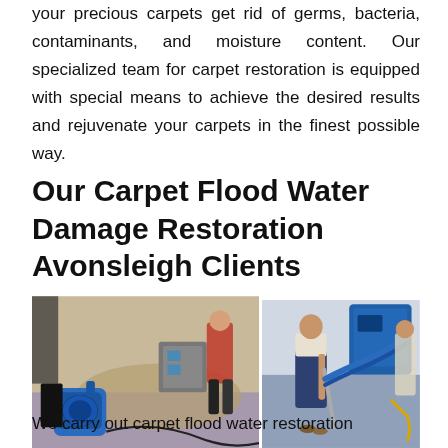your precious carpets get rid of germs, bacteria, contaminants, and moisture content. Our specialized team for carpet restoration is equipped with special means to achieve the desired results and rejuvenate your carpets in the finest possible way.
Our Carpet Flood Water Damage Restoration Avonsleigh Clients
[Figure (photo): Two side-by-side photos of carpet flood water damage restoration. Left photo shows a blue air mover fan on a wet carpet with equipment in the background. Right photo shows a technician using a carpet cleaning wand and blue hose on grey carpet.]
Carpet Flood Recovery Avonsleigh
We carry out carpet flood water restoration